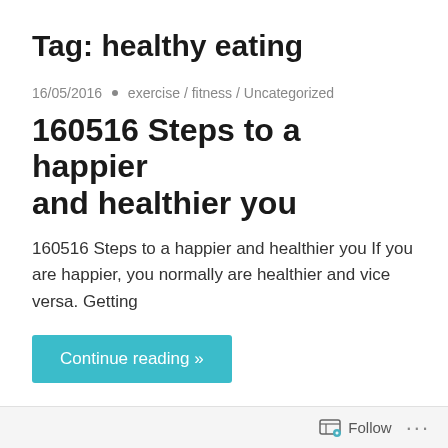Tag: healthy eating
16/05/2016 • exercise / fitness / Uncategorized
160516 Steps to a happier and healthier you
160516 Steps to a happier and healthier you If you are happier, you normally are healthier and vice versa. Getting
Continue reading »
29/02/2016 • cardiovascular disease / cholesterol / diabetes
Follow ...